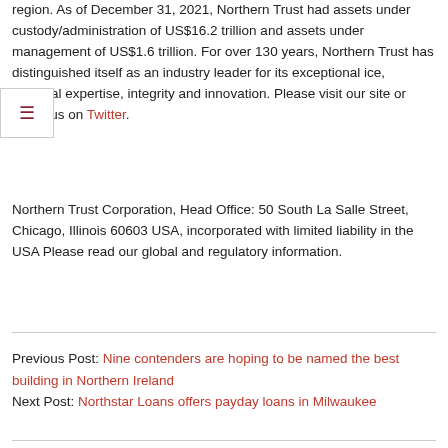region. As of December 31, 2021, Northern Trust had assets under custody/administration of US$16.2 trillion and assets under management of US$1.6 trillion. For over 130 years, Northern Trust has distinguished itself as an industry leader for its exceptional ice, financial expertise, integrity and innovation. Please visit our site or follow us on Twitter.
Northern Trust Corporation, Head Office: 50 South La Salle Street, Chicago, Illinois 60603 USA, incorporated with limited liability in the USA Please read our global and regulatory information.
Previous Post: Nine contenders are hoping to be named the best building in Northern Ireland
Next Post: Northstar Loans offers payday loans in Milwaukee